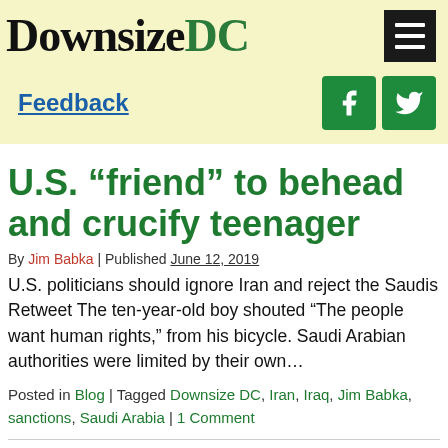Downsize DC
Feedback
U.S. “friend” to behead and crucify teenager
By Jim Babka | Published June 12, 2019
U.S. politicians should ignore Iran and reject the Saudis Retweet The ten-year-old boy shouted “The people want human rights,” from his bicycle. Saudi Arabian authorities were limited by their own…
Posted in Blog | Tagged Downsize DC, Iran, Iraq, Jim Babka, sanctions, Saudi Arabia | 1 Comment
Keep hitting them where they